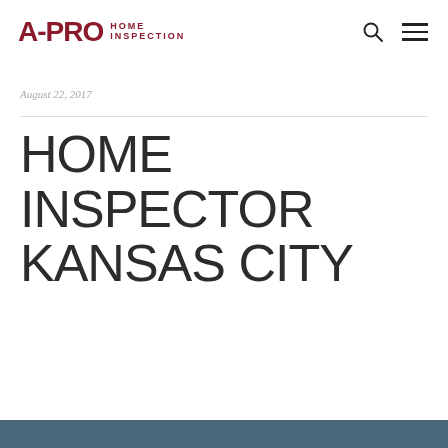A-PRO HOME INSPECTION
August 22, 2017
HOME INSPECTOR KANSAS CITY
[Figure (other): Teal/blue-grey colored bar at the bottom of the page]